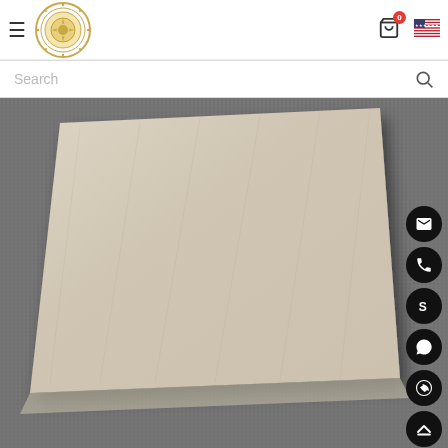Navigation header with hamburger menu, logo, cart icon with badge 0, and US flag icon
Search
[Figure (photo): A light beige/cream ceramic or porcelain floor tile resting on a dark grey textured carpet/fabric surface. The tile is photographed from a slightly elevated angle showing its top surface and one edge. Several circular floating action buttons appear on the right side: email (envelope icon), phone, Skype (S icon), WhatsApp, call/viber, and scroll-to-top (up arrow).]